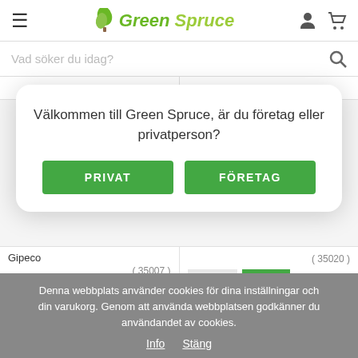Green Spruce — navigation header with hamburger menu, logo, user icon, cart icon
Vad söker du idag?
Välkommen till Green Spruce, är du företag eller privatperson?
PRIVAT
FÖRETAG
Gipeco
( 35007 )
( 35020 )
INFO
KÖP
INFO
KÖP
Denna webbplats använder cookies för dina inställningar och din varukorg. Genom att använda webbplatsen godkänner du användandet av cookies.
Info   Stäng